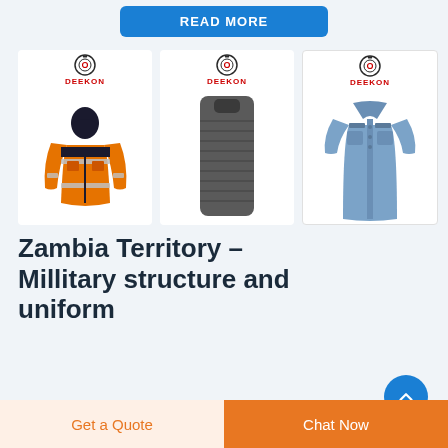[Figure (screenshot): Blue READ MORE button at top of page]
[Figure (photo): Three product cards with DEEKON logo: orange hi-vis jacket, ballistic shield/plate, blue police/military shirt]
Zambia Territory – Millitary structure and uniform
The Zambia and Malawi Territory became Zambia
[Figure (other): Blue circular scroll-up arrow button]
Get a Quote
Chat Now